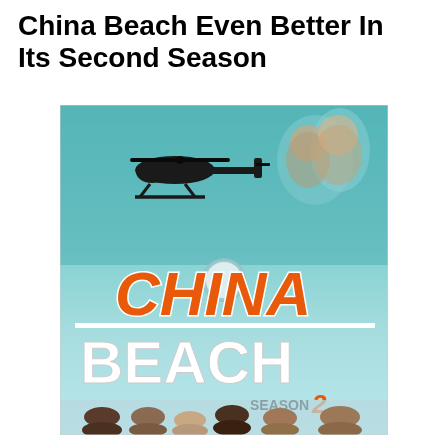China Beach Even Better In Its Second Season
[Figure (illustration): DVD cover art for China Beach Season 2. Features a teal/blue sky background with a military helicopter silhouette in the upper left. Two female cast members appear ghost-like in the upper right. In the center is the show's logo: 'CHINA' in large orange italic letters with white outlines above a white horizontal line, then 'BEACH' in large bold white letters below. 'SEASON 2' text appears in the lower right with '2' in an orange stylized numeral. Six cast members appear at the bottom in a group photo.]